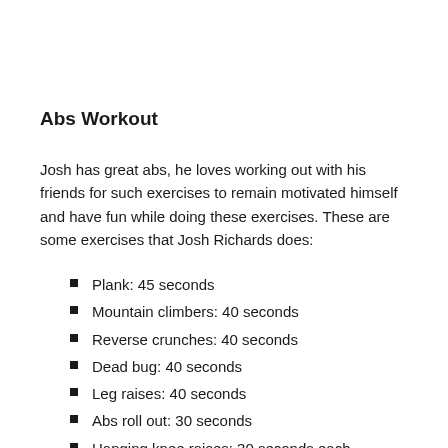Abs Workout
Josh has great abs, he loves working out with his friends for such exercises to remain motivated himself and have fun while doing these exercises. These are some exercises that Josh Richards does:
Plank: 45 seconds
Mountain climbers: 40 seconds
Reverse crunches: 40 seconds
Dead bug: 40 seconds
Leg raises: 40 seconds
Abs roll out: 30 seconds
Hanging knee raises: 30 seconds each
Bird dog: 40 seconds